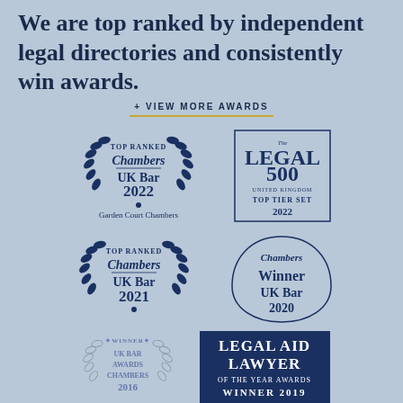We are top ranked by independent legal directories and consistently win awards.
+ VIEW MORE AWARDS
[Figure (logo): Chambers TOP RANKED UK Bar 2022 Garden Court Chambers laurel wreath badge]
[Figure (logo): The Legal 500 United Kingdom TOP TIER SET 2022 badge in rectangular border]
[Figure (logo): Chambers TOP RANKED UK Bar 2021 laurel wreath badge]
[Figure (logo): Chambers Winner UK Bar 2020 badge with leaf shape outline]
[Figure (logo): WINNER UK BAR AWARDS CHAMBERS 2016 laurel wreath badge]
[Figure (logo): LEGAL AID LAWYER OF THE YEAR AWARDS WINNER 2019 dark navy badge]